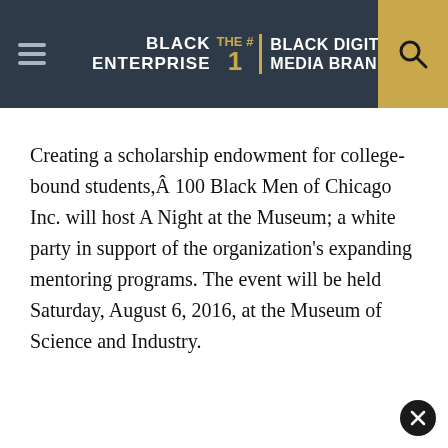BLACK ENTERPRISE THE #1 BLACK DIGITAL MEDIA BRAND
Creating a scholarship endowment for college-bound students,Â 100 Black Men of Chicago Inc. will host A Night at the Museum; a white party in support of the organization’s expanding mentoring programs. The event will be held Saturday, August 6, 2016, at the Museum of Science and Industry.